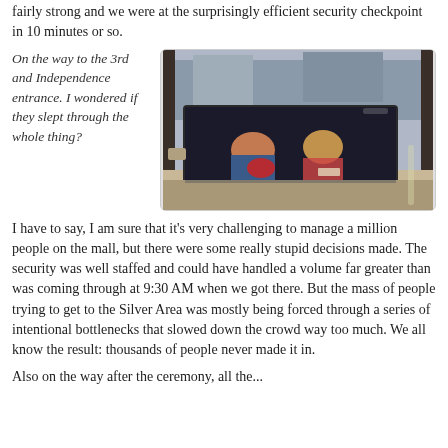fairly strong and we were at the surprisingly efficient security checkpoint in 10 minutes or so.
On the way to the 3rd and Independence entrance. I wondered if they slept through the whole thing?
[Figure (photo): View through the windshield of a car in traffic, showing passengers with heads down, possibly sleeping, with other vehicles visible outside]
I have to say, I am sure that it's very challenging to manage a million people on the mall, but there were some really stupid decisions made. The security was well staffed and could have handled a volume far greater than was coming through at 9:30 AM when we got there. But the mass of people trying to get to the Silver Area was mostly being forced through a series of intentional bottlenecks that slowed down the crowd way too much. We all know the result: thousands of people never made it in.
Also on the way after the ceremony, all the...